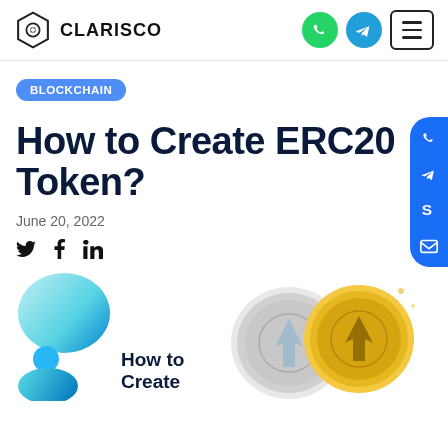CLARISCO
BLOCKCHAIN
How to Create ERC20 Token?
June 20, 2022
[Figure (illustration): Article hero image with decorative blue bubble shapes on the left and cryptocurrency coins (silver and gold with arrow logos) on the right, with preview text 'How to Create' overlaid]